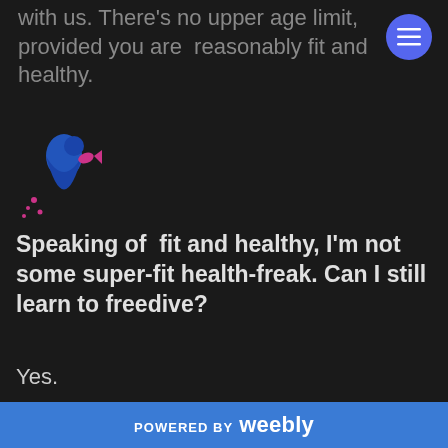with us. There's no upper age limit, provided you are reasonably fit and healthy.
[Figure (logo): Freediving logo: blue hourglass/diver silhouette with pink fish and splashes]
Speaking of fit and healthy, I'm not some super-fit health-freak. Can I still learn to freedive?
Yes.
You don't have to be an extreme athlete to freedive. It will help if you are reasonably fit, and a non-smoker, but the key thing is relaxation. Provided that you can be relaxed in water, you can learn to freedive. You will need to complete a medical...
POWERED BY weebly